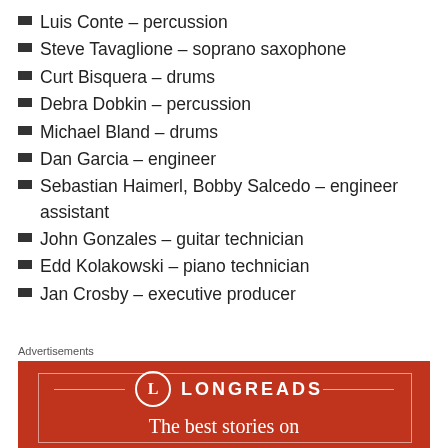Luis Conte – percussion
Steve Tavaglione – soprano saxophone
Curt Bisquera – drums
Debra Dobkin – percussion
Michael Bland – drums
Dan Garcia – engineer
Sebastian Haimerl, Bobby Salcedo – engineer assistant
John Gonzales – guitar technician
Edd Kolakowski – piano technician
Jan Crosby – executive producer
Advertisements
[Figure (other): Longreads advertisement banner with red background, circular L logo, brand name LONGREADS, and tagline 'The best stories on']